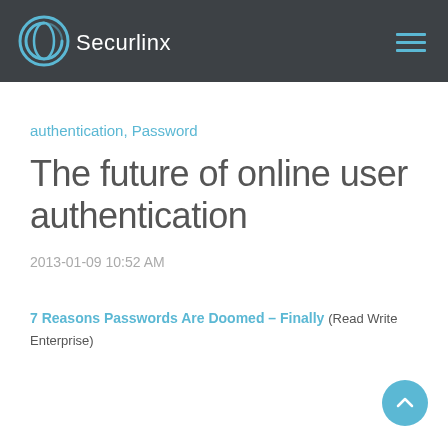Securlinx
authentication, Password
The future of online user authentication
2013-01-09 10:52 AM
7 Reasons Passwords Are Doomed – Finally (Read Write Enterprise)